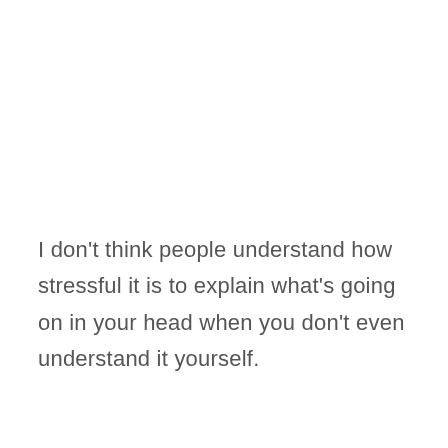I don't think people understand how stressful it is to explain what's going on in your head when you don't even understand it yourself.